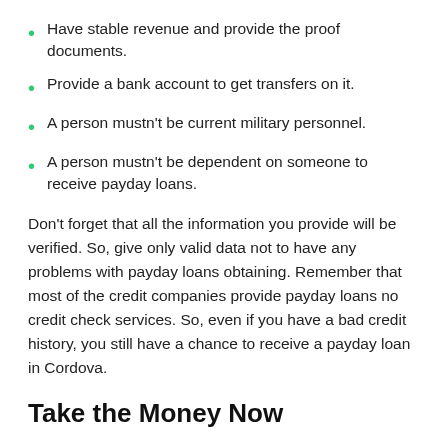Have stable revenue and provide the proof documents.
Provide a bank account to get transfers on it.
A person mustn't be current military personnel.
A person mustn't be dependent on someone to receive payday loans.
Don't forget that all the information you provide will be verified. So, give only valid data not to have any problems with payday loans obtaining. Remember that most of the credit companies provide payday loans no credit check services. So, even if you have a bad credit history, you still have a chance to receive a payday loan in Cordova.
Take the Money Now
Following some conditions, you will receive payday loans easily: